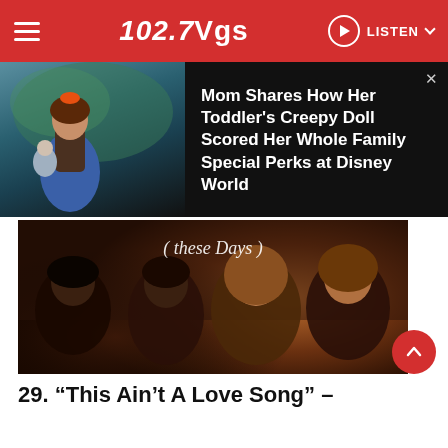102.7 VGS — LISTEN
[Figure (photo): Advertisement: child dressed in costume holding a baby doll with text 'Mom Shares How Her Toddler's Creepy Doll Scored Her Whole Family Special Perks at Disney World']
[Figure (photo): Band photo for Bon Jovi '(These Days)' album with Mercury label watermark, showing four band members in moody sepia/orange tones]
29. “This Ain’t A Love Song” –